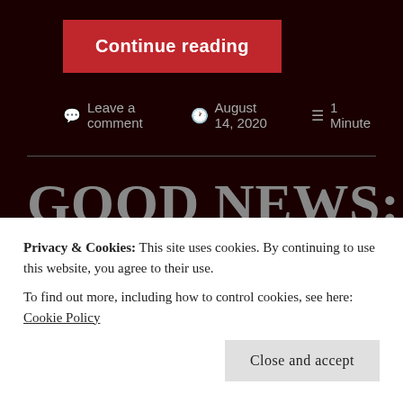Continue reading
Leave a comment   August 14, 2020   1 Minute
GOOD NEWS: The Print Edition Now Available
Privacy & Cookies: This site uses cookies. By continuing to use this website, you agree to their use.
To find out more, including how to control cookies, see here: Cookie Policy
Close and accept